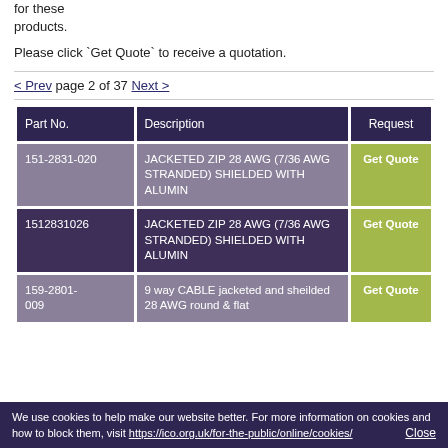for these products.
Please click `Get Quote` to receive a quotation.
< Prev page 2 of 37 Next >
| Part No. | Description | Request |
| --- | --- | --- |
| 151-2831-020 | JACKETED ZIP 28 AWG (7/36 AWG STRANDED) SHIELDED WITH ALUMIN | Get Quote |
| 1512831026 | JACKETED ZIP 28 AWG (7/36 AWG STRANDED) SHIELDED WITH ALUMIN | Get Quote |
| 159-2801-009 | 9 way CABLE jacketed and sheilded 28 AWG round & flat | Get Quote |
We use cookies to help make our website better. For more information on cookies and how to block them, visit https://ico.org.uk/for-the-public/online/cookies/
Close